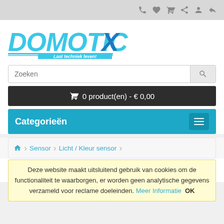[Figure (logo): DomoticX logo with text 'Laat techniek leven!' in cyan/blue stylized font]
Zoeken
🛒 0 product(en) - € 0,00
Categorieën
🏠 > Sensor > Licht / Kleur sensor
Licht / Kleur sensors
Licht / Kleur sensor
Deze website maakt uitsluitend gebruik van cookies om de functionaliteit te waarborgen, er worden geen analytische gegevens verzameld voor reclame doeleinden. Meer Informatie  OK